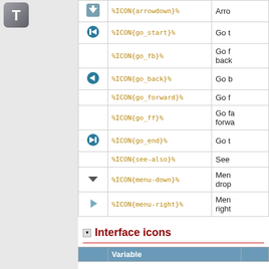[Figure (logo): Letter T logo icon in top-left corner]
| Icon | Variable | Description |
| --- | --- | --- |
| [arrowdown icon] | %ICON{arrowdown}% | Arro... |
| [go_start icon] | %ICON{go_start}% | Go t... |
|  | %ICON{go_fb}% | Go fa... back... |
| [go_back icon] | %ICON{go_back}% | Go b... |
|  | %ICON{go_forward}% | Go fo... |
|  | %ICON{go_ff}% | Go fa... forwa... |
| [go_end icon] | %ICON{go_end}% | Go to... |
|  | %ICON{see-also}% | See ... |
| [menu-down icon] | %ICON{menu-down}% | Men... drop... |
| [menu-right icon] | %ICON{menu-right}% | Men... right... |
Interface icons
| Variable | Description |
| --- | --- |